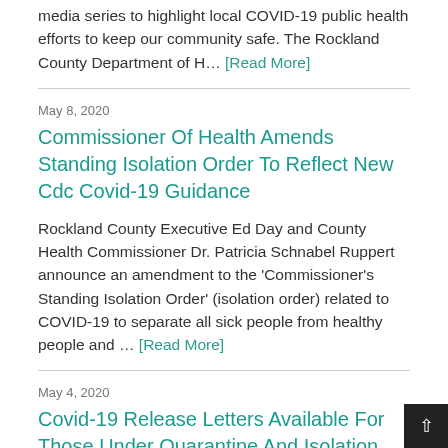media series to highlight local COVID-19 public health efforts to keep our community safe. The Rockland County Department of H… [Read More]
May 8, 2020
Commissioner Of Health Amends Standing Isolation Order To Reflect New Cdc Covid-19 Guidance
Rockland County Executive Ed Day and County Health Commissioner Dr. Patricia Schnabel Ruppert announce an amendment to the 'Commissioner's Standing Isolation Order' (isolation order) related to COVID-19 to separate all sick people from healthy people and … [Read More]
May 4, 2020
Covid-19 Release Letters Available For Those Under Quarantine And Isolation Order...